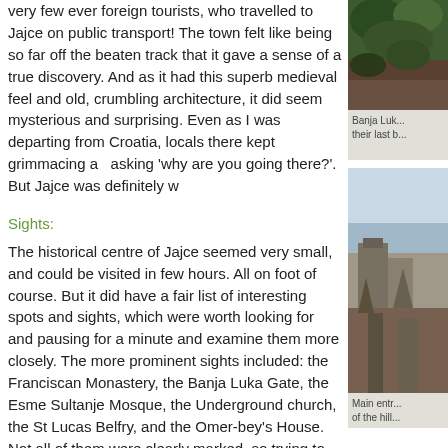very few ever foreign tourists, who travelled to Jajce on public transport! The town felt like being so far off the beaten track that it gave a sense of a true discovery. And as it had this superb medieval feel and old, crumbling architecture, it did seem mysterious and surprising. Even as I was departing from Croatia, locals there kept grimmacing and asking 'why are you going there?'. But Jajce was definitely w
[Figure (photo): Photo of trees and foliage, green and brown tones]
Banja Luk... their last b...
Sights:
The historical centre of Jajce seemed very small, and could be visited in few hours. All on foot of course. But it did have a fair list of interesting spots and sights, which were worth looking for and pausing for a minute and examine them more closely. The more prominent sights included: the Franciscan Monastery, the Banja Luka Gate, the Esme Sultanje Mosque, the Underground church, the St Lucas Belfry, and the Omer-bey's House. Not all of them were clearly marked, so trying to navigate the narrow and steep a... the bottom of the old town's hill there was a sign pointing vis... those spots could be found.
[Figure (photo): Photo of stone architecture, gate or wall on a hillside, sky visible]
Main entr... of the hill...